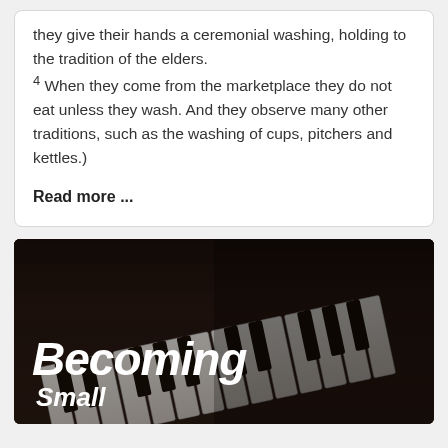they give their hands a ceremonial washing, holding to the tradition of the elders. 4 When they come from the marketplace they do not eat unless they wash. And they observe many other traditions, such as the washing of cups, pitchers and kettles.)
Read more ...
[Figure (photo): Close-up photo of piano keys in dark/moody lighting with white bold italic text 'Becoming' and cursive text 'Small' overlaid on the image]